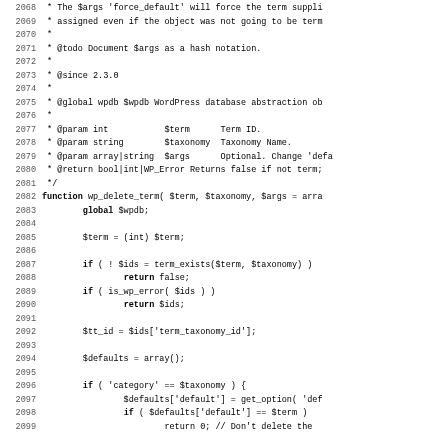Source code listing, lines 2068-2099, PHP function wp_delete_term with doc comments